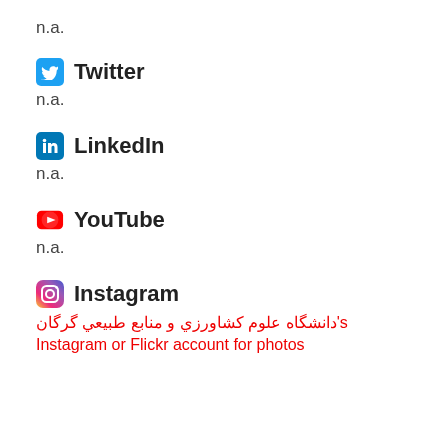n.a.
Twitter
n.a.
LinkedIn
n.a.
YouTube
n.a.
Instagram
دانشگاه علوم کشاورزي و منابع طبيعي گرگان's Instagram or Flickr account for photos